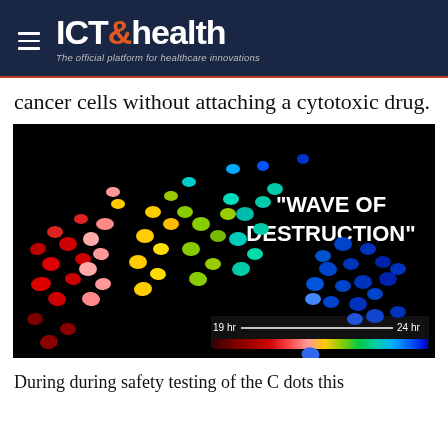ICT&health – The official platform for healthcare innovations
cancer cells without attaching a cytotoxic drug.
[Figure (photo): Fluorescence microscopy image of cancer cells on black background showing a "wave of destruction" with cells colored from dark red through red, pink, yellow, green, cyan to blue indicating time progression from 19 hr to 24 hr, with a color scale bar at bottom.]
During during safety testing of the C dots this